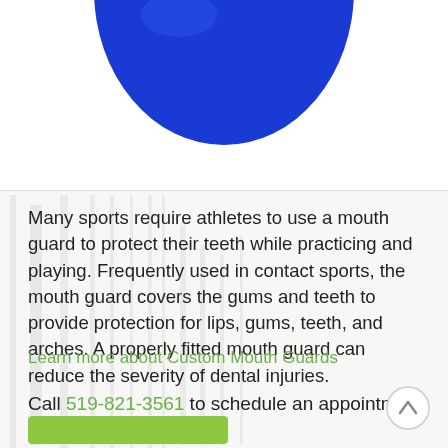[Figure (photo): Partial view of a blue round mouth guard / ball shape cropped at top of image, white background]
Many sports require athletes to use a mouth guard to protect their teeth while practicing and playing. Frequently used in contact sports, the mouth guard covers the gums and teeth to provide protection for lips, gums, teeth, and arches. A properly fitted mouth guard can reduce the severity of dental injuries.
Learn more about Custom Mouth Guards
Call 519-821-3561 to schedule an appointment.